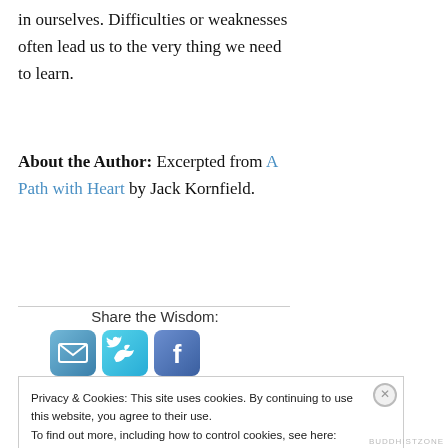in ourselves. Difficulties or weaknesses often lead us to the very thing we need to learn.
About the Author: Excerpted from A Path with Heart by Jack Kornfield.
Share the Wisdom:
[Figure (other): Three social sharing icons: email (envelope), Twitter (bird), Facebook (f)]
Privacy & Cookies: This site uses cookies. By continuing to use this website, you agree to their use. To find out more, including how to control cookies, see here: Cookie Policy
Close and accept
BUDDHISTZONE